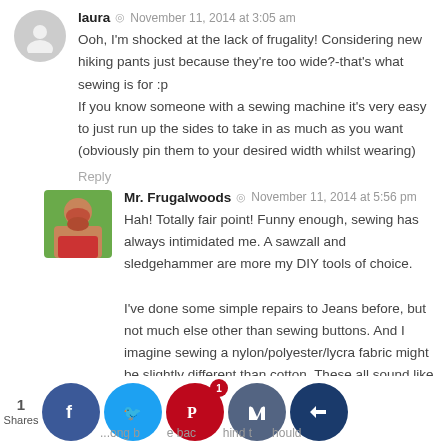laura ◎ November 11, 2014 at 3:05 am
Ooh, I'm shocked at the lack of frugality! Considering new hiking pants just because they're too wide?-that's what sewing is for :p
If you know someone with a sewing machine it's very easy to just run up the sides to take in as much as you want (obviously pin them to your desired width whilst wearing)
Reply
Mr. Frugalwoods ◎ November 11, 2014 at 5:56 pm
Hah! Totally fair point! Funny enough, sewing has always intimidated me. A sawzall and sledgehammer are more my DIY tools of choice.

I've done some simple repairs to Jeans before, but not much else other than sewing buttons. And I imagine sewing a nylon/polyester/lycra fabric might be slightly different than cotton. These all sound like excuses to me! 🙂
1 Shares